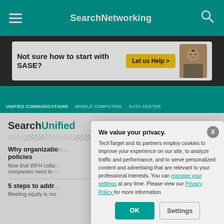SearchNetworking
[Figure (screenshot): Advertisement banner: 'Not sure how to start with SASE? Let us Help >' with a man's face]
UNIFIED COMMUNICATIONS  MOBILE COMPUTING  DATA CENTER
SearchUnified...
Why organizations need WFH collaboration policies
Now that WFH collaboration is the norm, companies need to m...
5 steps to address meeting equity
Meeting equity is mo...
We value your privacy. TechTarget and its partners employ cookies to improve your experience on our site, to analyze traffic and performance, and to serve personalized content and advertising that are relevant to your professional interests. You can manage your settings at any time. Please view our Privacy Policy for more information